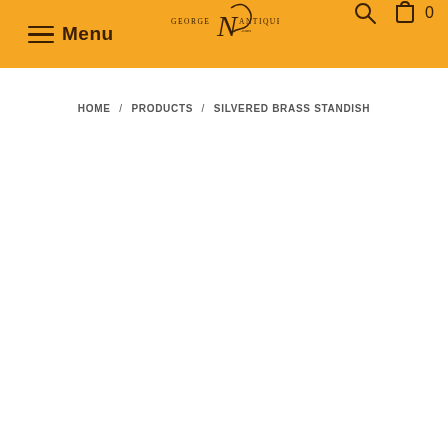Menu — George N Antiques — 0
HOME / PRODUCTS / SILVERED BRASS STANDISH